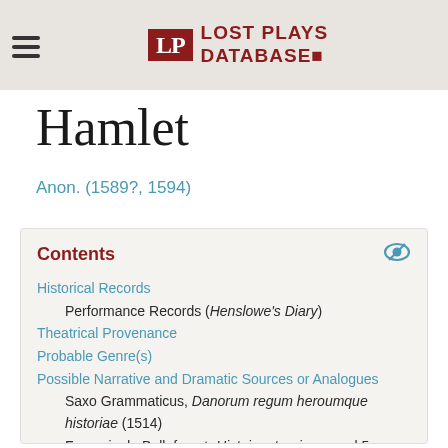Lost Plays Database
Hamlet
Anon. (1589?, 1594)
Contents
Historical Records
Performance Records (Henslowe's Diary)
Theatrical Provenance
Probable Genre(s)
Possible Narrative and Dramatic Sources or Analogues
Saxo Grammaticus, Danorum regum heroumque historiae (1514)
Francois de Belleforest, Histoires tragiques, vol 5 (1570)
References to the Play
Nashe, Preface, Menaphon, 1589
Lodge, Wits Miserie, 1596